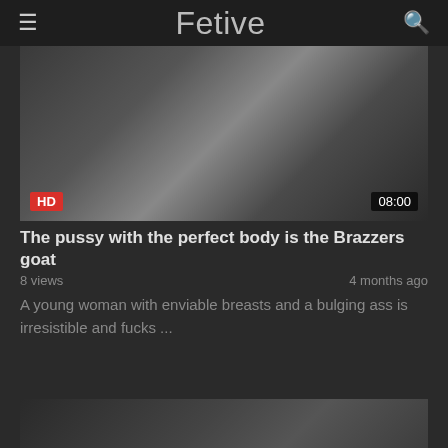Fetive
[Figure (photo): Video thumbnail showing a woman with long hair in a dark setting]
The pussy with the perfect body is the Brazzers goat
8 views   4 months ago
A young woman with enviable breasts and a bulging ass is irresistible and fucks ...
[Figure (photo): Second video thumbnail, dark scene]
The perfect student fucks her ass